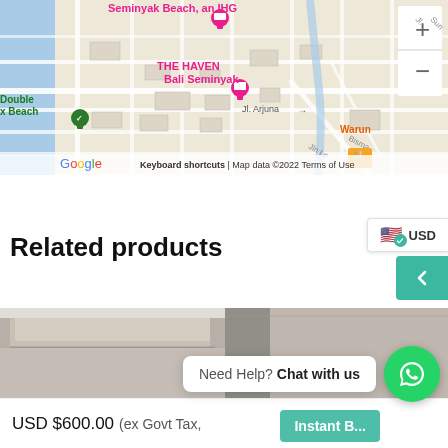[Figure (map): Google Maps view showing Seminyak Beach area in Bali with markers for THE HAVEN Bali Seminyak, Seminyak Beach an IHG hotel, Double x Beach, and Warun restaurant. Shows Jl. Arjuna road. Map data 2022.]
[Figure (screenshot): USD currency selector badge with US flag and green checkmark]
Related products
[Figure (photo): Partial photo of a building rooftop and wall, product listing image strip]
USD $600.00 (ex Govt Tax,
Need Help? Chat with us
[Figure (logo): WhatsApp green circle button icon]